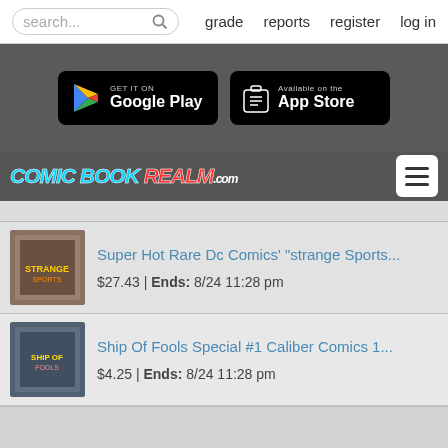search... | grade | reports | register | log in
[Figure (screenshot): App store download buttons: Get it on Google Play and Available on the App Store]
[Figure (logo): Comic Book Realm .com logo]
Super Hot Rare Dc Comics' "strange Sports... | $27.43 | Ends: 8/24 11:28 pm
Ship Of Fools Special #1 Caliber Comics 1... | $4.25 | Ends: 8/24 11:28 pm